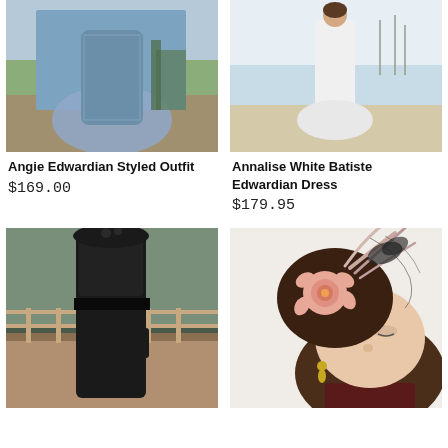[Figure (photo): Woman in blue floral Edwardian styled outfit standing on a porch]
[Figure (photo): Woman in white Edwardian dress standing on a beach, viewed from behind]
Angie Edwardian Styled Outfit
$169.00
Annalise White Batiste Edwardian Dress
$179.95
[Figure (photo): Woman in black lace Edwardian dress and wide-brimmed black hat on a wooden deck]
[Figure (photo): Woman wearing ornate Edwardian hat with pink rose and feathers, close-up portrait]